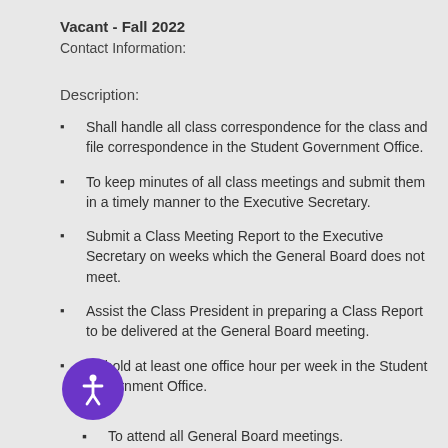Vacant - Fall 2022
Contact Information:
Description:
Shall handle all class correspondence for the class and file correspondence in the Student Government Office.
To keep minutes of all class meetings and submit them in a timely manner to the Executive Secretary.
Submit a Class Meeting Report to the Executive Secretary on weeks which the General Board does not meet.
Assist the Class President in preparing a Class Report to be delivered at the General Board meeting.
To hold at least one office hour per week in the Student Government Office.
To attend all General Board meetings.